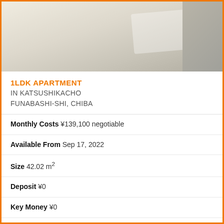[Figure (photo): Interior photo of an apartment showing a bright hallway/room with light beige walls and flooring]
1LDK APARTMENT
IN KATSUSHIKACHO
FUNABASHI-SHI, CHIBA
Monthly Costs ¥139,100 negotiable
Available From Sep 17, 2022
Size 42.02 m²
Deposit ¥0
Key Money ¥0
Floor 4 / 5F